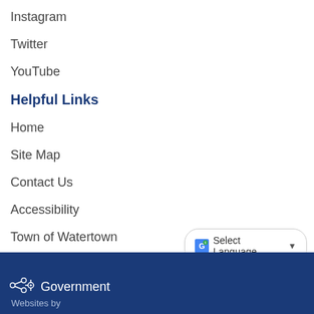Instagram
Twitter
YouTube
Helpful Links
Home
Site Map
Contact Us
Accessibility
Town of Watertown
Staff Login
Government Websites by